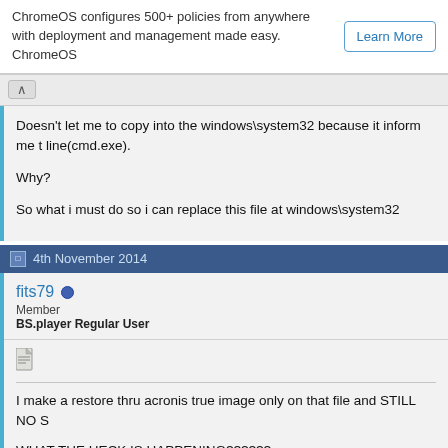[Figure (infographic): ChromeOS advertisement banner with 'Learn More' button]
Doesn't let me to copy into the windows\system32 because it inform me t... line(cmd.exe).

Why?

So what i must do so i can replace this file at windows\system32
4th November 2014
fits79
Member
BS.player Regular User
I make a restore thru acronis true image only on that file and STILL NO S...

WHAT THE HECK IS HAPPENING??????